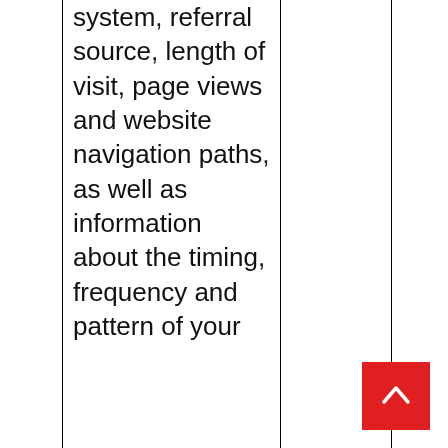system, referral source, length of visit, page views and website navigation paths, as well as information about the timing, frequency and pattern of your